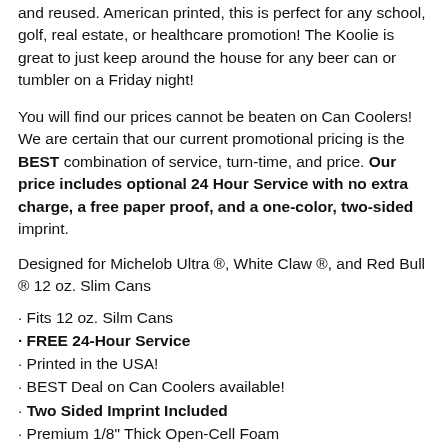and reused. American printed, this is perfect for any school, golf, real estate, or healthcare promotion! The Koolie is great to just keep around the house for any beer can or tumbler on a Friday night!
You will find our prices cannot be beaten on Can Coolers! We are certain that our current promotional pricing is the BEST combination of service, turn-time, and price. Our price includes optional 24 Hour Service with no extra charge, a free paper proof, and a one-color, two-sided imprint.
Designed for Michelob Ultra ®, White Claw ®, and Red Bull ® 12 oz. Slim Cans
• Fits 12 oz. Silm Cans
• FREE 24-Hour Service
• Printed in the USA!
• BEST Deal on Can Coolers available!
• Two Sided Imprint Included
• Premium 1/8" Thick Open-Cell Foam
• Collapsible Design